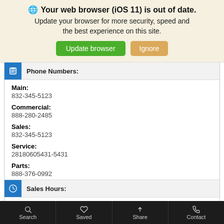Your web browser (iOS 11) is out of date. Update your browser for more security, speed and the best experience on this site.
Phone Numbers:
Main: 832-345-5123
Commercial: 888-280-2485
Sales: 832-345-5123
Service: 28180605431-5431
Parts: 888-376-0992
Sales Hours:
Mon - Thu
8:00 AM - 8:00 PM
Search  Saved  Share  Contact